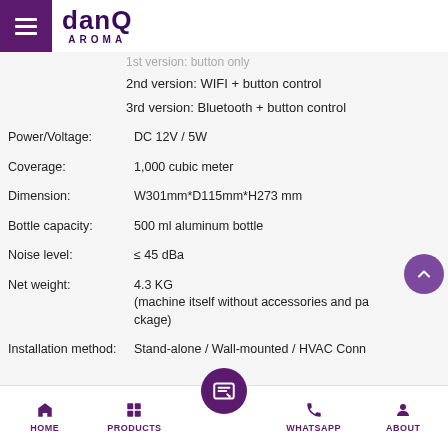DanQ AROMA
1st version: button only
2nd version: WIFI + button control
3rd version: Bluetooth + button control
| Specification | Value |
| --- | --- |
| Power/Voltage: | DC 12V / 5W |
| Coverage: | 1,000 cubic meter |
| Dimension: | W301mm*D115mm*H273 mm |
| Bottle capacity: | 500 ml aluminum bottle |
| Noise level: | ≤ 45 dBa |
| Net weight: | 4.3 KG
(machine itself without accessories and package) |
| Installation method: | Stand-alone / Wall-mounted / HVAC Conn |
HOME   PRODUCTS   [center button]   WHATSAPP   ABOUT